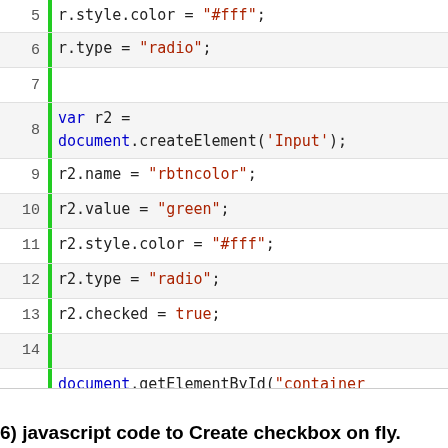[Figure (screenshot): Code editor screenshot showing JavaScript lines 5-16 with syntax highlighting. Line numbers on left, green vertical bar, code on right. Lines show radio button and document element creation/manipulation code.]
6) javascript code to Create checkbox on fly.